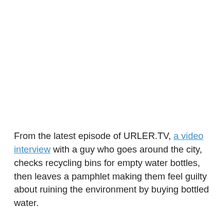From the latest episode of URLER.TV, a video interview with a guy who goes around the city, checks recycling bins for empty water bottles, then leaves a pamphlet making them feel guilty about ruining the environment by buying bottled water.